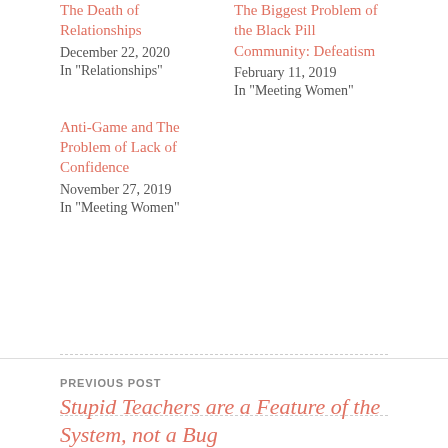The Death of Relationships
December 22, 2020
In "Relationships"
The Biggest Problem of the Black Pill Community: Defeatism
February 11, 2019
In "Meeting Women"
Anti-Game and The Problem of Lack of Confidence
November 27, 2019
In "Meeting Women"
PREVIOUS POST
Stupid Teachers are a Feature of the System, not a Bug